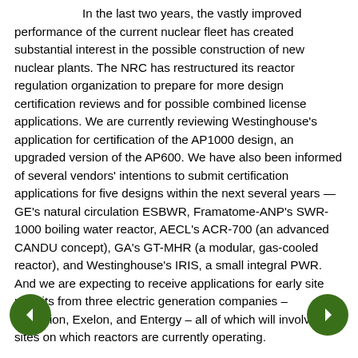In the last two years, the vastly improved performance of the current nuclear fleet has created substantial interest in the possible construction of new nuclear plants. The NRC has restructured its reactor regulation organization to prepare for more design certification reviews and for possible combined license applications. We are currently reviewing Westinghouse's application for certification of the AP1000 design, an upgraded version of the AP600. We have also been informed of several vendors' intentions to submit certification applications for five designs within the next several years — GE's natural circulation ESBWR, Framatome-ANP's SWR-1000 boiling water reactor, AECL's ACR-700 (an advanced CANDU concept), GA's GT-MHR (a modular, gas-cooled reactor), and Westinghouse's IRIS, a small integral PWR. And we are expecting to receive applications for early site permits from three electric generation companies – Dominion, Exelon, and Entergy – all of which will involve sites on which reactors are currently operating.